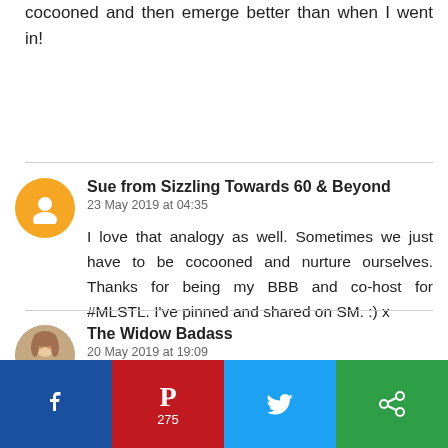cocooned and then emerge better than when I went in!
Sue from Sizzling Towards 60 & Beyond
23 May 2019 at 04:35
I love that analogy as well. Sometimes we just have to be cocooned and nurture ourselves. Thanks for being my BBB and co-host for #MLSTL. I've pinned and shared on SM. :) x
The Widow Badass
20 May 2019 at 19:09
Hi Leanne,
[Figure (infographic): Social sharing bar with Facebook, Pinterest (275), Twitter, and another platform buttons]